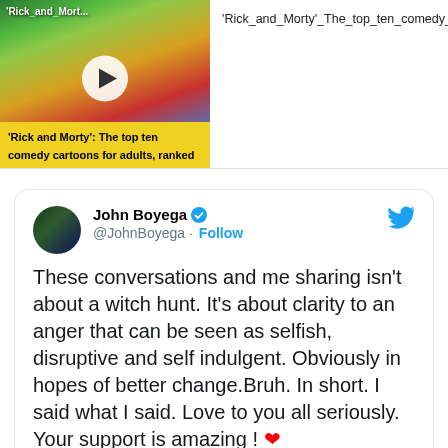[Figure (screenshot): Video thumbnail for Rick and Morty comedy cartoon video with play button]
'Rick_and_Morty'_The_top_ten_comedy_cartoons_for_adults_ranked_1080p
[Figure (screenshot): Tweet by John Boyega (@JohnBoyega) verified account with Follow button and Twitter bird logo. Tweet text: These conversations and me sharing isn't about a witch hunt. It's about clarity to an anger that can be seen as selfish, disruptive and self indulgent. Obviously in hopes of better change.Bruh. In short. I said what I said. Love to you all seriously. Your support is amazing ! ❤ — 11:49 AM · Sep 2, 2020]